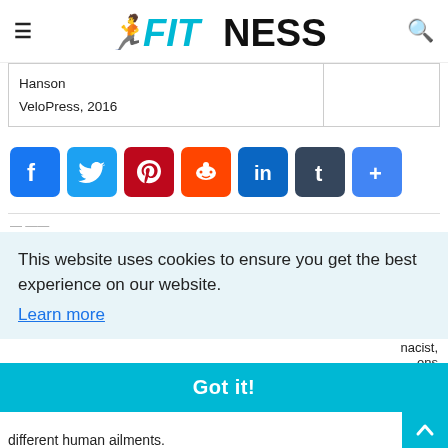FITNESS
| Hanson |  |
| VeloPress, 2016 |  |
[Figure (other): Row of social share buttons: Facebook, Twitter, Pinterest, Reddit, LinkedIn, Tumblr, More (+)]
This website uses cookies to ensure you get the best experience on our website. Learn more
nacist, ons
different human ailments.
Got it!